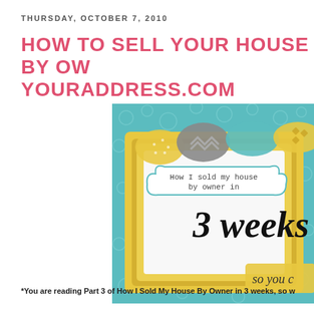THURSDAY, OCTOBER 7, 2010
HOW TO SELL YOUR HOUSE BY OWNER ON YOURADDRESS.COM
[Figure (illustration): Decorative illustration with a yellow frame on a teal patterned background. Inside the frame on a white cloud-shaped label it reads 'How I sold my house by owner in 3 weeks' in handwritten-style font. Colorful scalloped banner decorations at top with chevron, polka dot, and diamond patterns. Text at bottom corner reads 'so you c'.]
*You are reading Part 3 of How I Sold My House By Owner in 3 weeks, so w